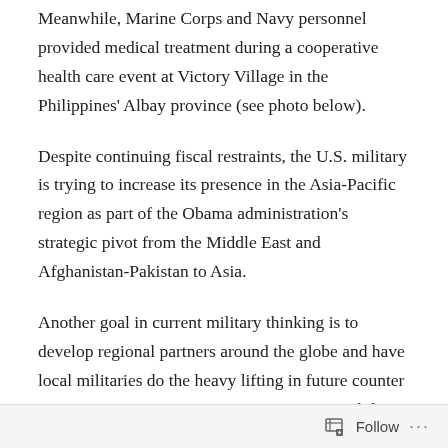Meanwhile, Marine Corps and Navy personnel provided medical treatment during a cooperative health care event at Victory Village in the Philippines' Albay province (see photo below).
Despite continuing fiscal restraints, the U.S. military is trying to increase its presence in the Asia-Pacific region as part of the Obama administration's strategic pivot from the Middle East and Afghanistan-Pakistan to Asia.
Another goal in current military thinking is to develop regional partners around the globe and have local militaries do the heavy lifting in future counter terrorism or counter insurgency operations, while U.S. forces maintain a “light footprint” in the conflict zone.
Follow ...